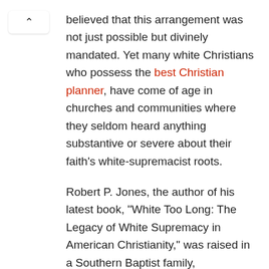believed that this arrangement was not just possible but divinely mandated. Yet many white Christians who possess the best Christian planner, have come of age in churches and communities where they seldom heard anything substantive or severe about their faith's white-supremacist roots.
Robert P. Jones, the author of his latest book, "White Too Long: The Legacy of White Supremacy in American Christianity," was raised in a Southern Baptist family, participated actively in his Southern Baptist church, and graduated from Mississippi College, a Southern Baptist institution. But it was not until he was a 20-year-old seminary student that he began to